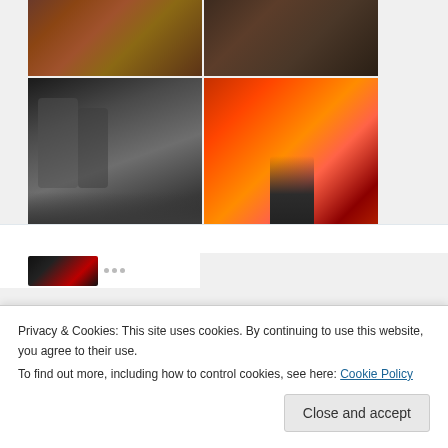[Figure (photo): 2x2 photo grid showing wildfire and animal images (top row: fire scene, large animal; bottom row: black and white crowded scene, orange wildfire with person)]
1 (like count)
[Figure (photo): Twitter avatar for StereoType Magazine - yellow geometric logo on dark background]
StereoTy... @... · Jun 13
Foto appena pubblicata @ London, United Kingdom
Privacy & Cookies: This site uses cookies. By continuing to use this website, you agree to their use.
To find out more, including how to control cookies, see here: Cookie Policy
Close and accept